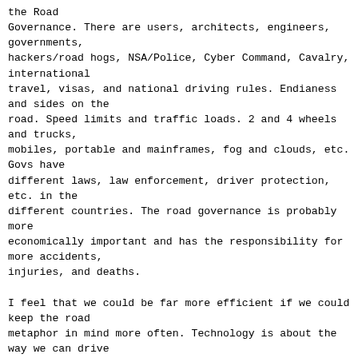the Road
Governance. There are users, architects, engineers,
governments,
hackers/road hogs, NSA/Police, Cyber Command, Cavalry,
international
travel, visas, and national driving rules. Endianess
and sides on the
road. Speed limits and traffic loads. 2 and 4 wheels
and trucks,
mobiles, portable and mainframes, fog and clouds, etc.
Govs have
different laws, law enforcement, driver protection,
etc. in the
different countries. The road governance is probably
more
economically important and has the responsibility for
more accidents,
injuries, and deaths.
I feel that we could be far more efficient if we could
keep the road
metaphor in mind more often. Technology is about the
way we can drive
our packets/cars on the network/through the streets and
highways and
for how many miles per hour or per gallon. I am not
sure that we
would be so excited about the drivers' gender and human
rights vs.
traffic cops as we are about civil rights. There are